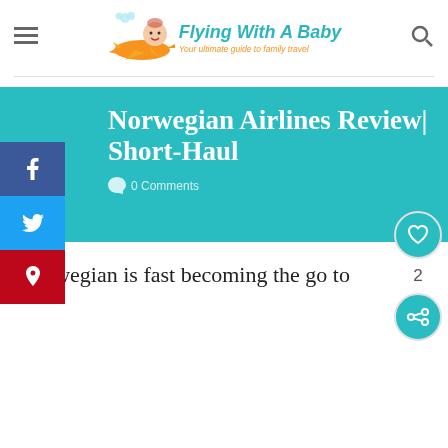[Figure (logo): Flying With A Baby logo — cartoon baby on orange airplane with teal text 'Flying With A Baby' and subtitle 'Your ultimate guide to family travel']
Norwegian Airlines Review| Short-Haul
0 Comments
Norwegian is fast becoming the go to